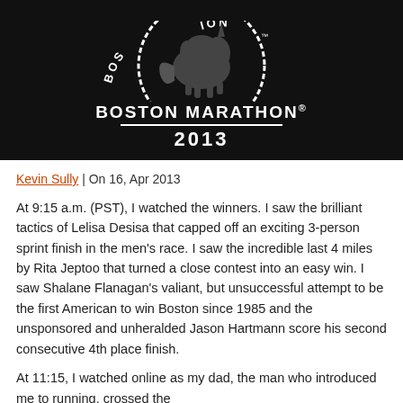[Figure (logo): Boston Marathon 2013 official logo on black background with unicorn emblem, circular text reading BOS and ION, text BOSTON MARATHON with registered mark and 2013 below a horizontal line]
Kevin Sully | On 16, Apr 2013
At 9:15 a.m. (PST), I watched the winners. I saw the brilliant tactics of Lelisa Desisa that capped off an exciting 3-person sprint finish in the men's race. I saw the incredible last 4 miles by Rita Jeptoo that turned a close contest into an easy win. I saw Shalane Flanagan's valiant, but unsuccessful attempt to be the first American to win Boston since 1985 and the unsponsored and unheralded Jason Hartmann score his second consecutive 4th place finish.
At 11:15, I watched online as my dad, the man who introduced me to running, crossed the